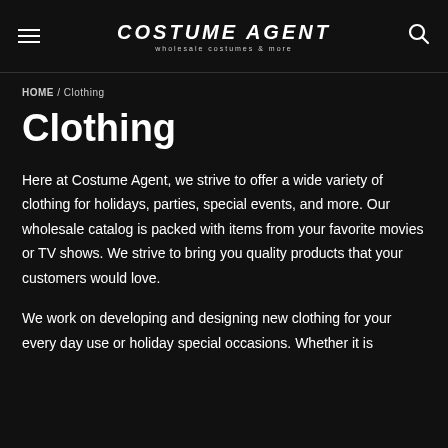COSTUME AGENT wholesale costumes & more
HOME / Clothing
Clothing
Here at Costume Agent, we strive to offer a wide variety of clothing for holidays, parties, special events, and more. Our wholesale catalog is packed with items from your favorite movies or TV shows. We strive to bring you quality products that your customers would love.
We work on developing and designing new clothing for your every day use or holiday special occasions. Whether it is